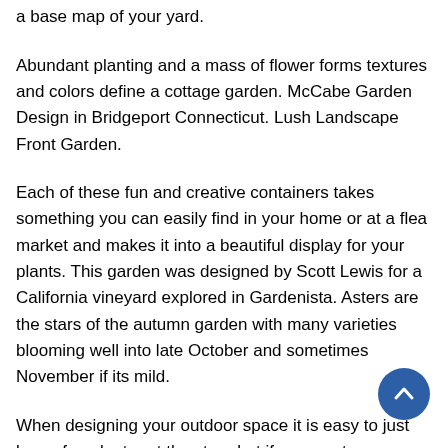geometric shapes. To help you get started try creating a base map of your yard.
Abundant planting and a mass of flower forms textures and colors define a cottage garden. McCabe Garden Design in Bridgeport Connecticut. Lush Landscape Front Garden.
Each of these fun and creative containers takes something you can easily find in your home or at a flea market and makes it into a beautiful display for your plants. This garden was designed by Scott Lewis for a California vineyard explored in Gardenista. Asters are the stars of the autumn garden with many varieties blooming well into late October and sometimes November if its mild.
When designing your outdoor space it is easy to just buy a fun planter at the store but if you want more creative garden container ideas this is the list for you. Get ideas for